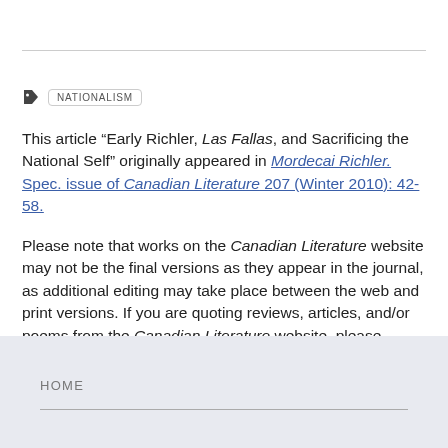NATIONALISM
This article “Early Richler, Las Fallas, and Sacrificing the National Self” originally appeared in Mordecai Richler. Spec. issue of Canadian Literature 207 (Winter 2010): 42-58.
Please note that works on the Canadian Literature website may not be the final versions as they appear in the journal, as additional editing may take place between the web and print versions. If you are quoting reviews, articles, and/or poems from the Canadian Literature website, please indicate the date of access.
HOME